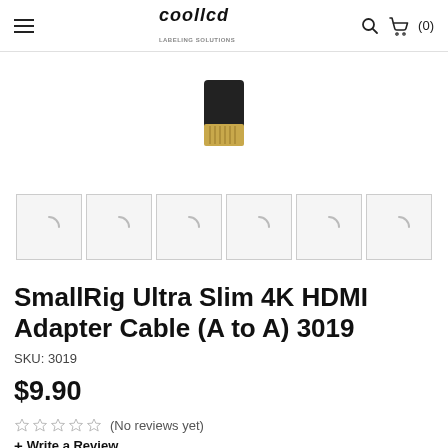coollcd — (0)
[Figure (photo): SmallRig Ultra Slim 4K HDMI Adapter Cable connector end showing black and gold HDMI plug]
[Figure (photo): Row of 6 product thumbnail image placeholders with loading spinner icons]
SmallRig Ultra Slim 4K HDMI Adapter Cable (A to A) 3019
SKU: 3019
$9.90
(No reviews yet)
+ Write a Review